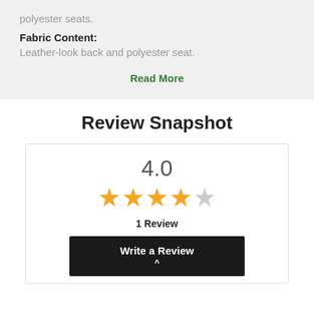polyester seats.
Fabric Content:
Leather-look back and polyester seat.
Read More
Review Snapshot
4.0
[Figure (other): 4 filled stars and 1 empty star representing a 4.0 rating]
1 Review
Write a Review